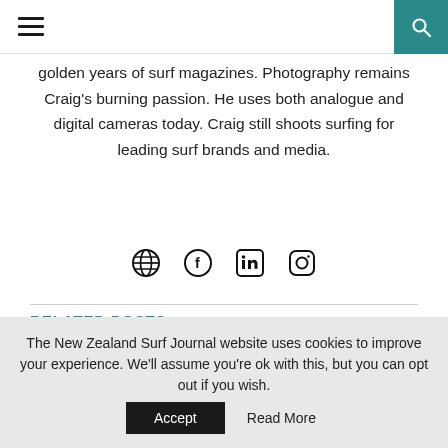Navigation bar with hamburger menu and search icon
golden years of surf magazines. Photography remains Craig's burning passion. He uses both analogue and digital cameras today. Craig still shoots surfing for leading surf brands and media.
[Figure (infographic): Row of 4 social media icons: globe, Facebook, LinkedIn, Instagram]
RELATED POSTS
[Figure (photo): Gray placeholder image card for a related post]
The New Zealand Surf Journal website uses cookies to improve your experience. We'll assume you're ok with this, but you can opt out if you wish.  Accept  Read More